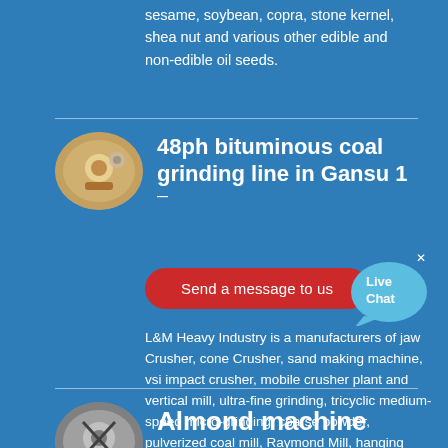sesame, soybean, copra, stone kernel, shea nut and various other edible and non-edible oil seeds.
48ph bituminous coal grinding line in Gansu 1
Send a message to us
L&M Heavy Industry is a manufacturers of jaw Crusher, cone Crusher, sand making machine, vsi impact crusher, mobile crusher plant and vertical mill, ultra-fine grinding, tricyclic medium-speed micro-grinding, coarse powder, pulverized coal mill, Raymond Mill, hanging roller mill.
Almond machine